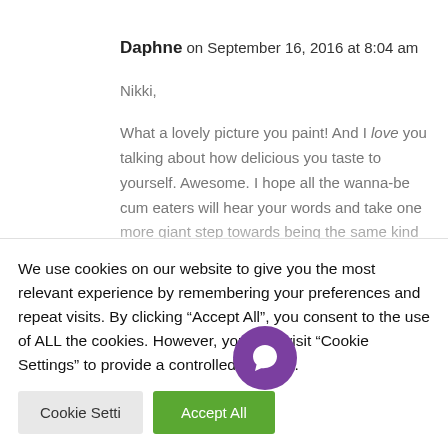Daphne on September 16, 2016 at 8:04 am
Nikki,

What a lovely picture you paint! And I love you talking about how delicious you taste to yourself. Awesome. I hope all the wanna-be cum eaters will hear your words and take one more giant step towards being the same kind of cum slut
We use cookies on our website to give you the most relevant experience by remembering your preferences and repeat visits. By clicking “Accept All”, you consent to the use of ALL the cookies. However, you may visit "Cookie Settings" to provide a controlled consent.